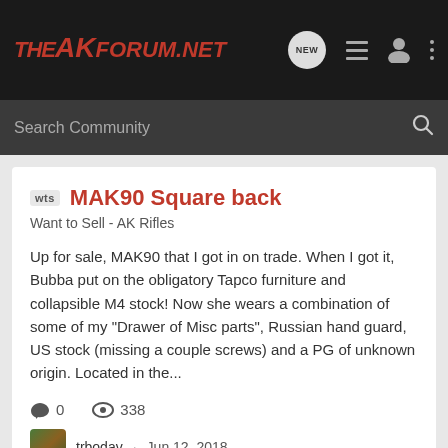THEAKFORUM.NET
WTS MAK90 Square back
Want to Sell - AK Rifles
Up for sale, MAK90 that I got in on trade. When I got it, Bubba put on the obligatory Tapco furniture and collapsible M4 stock! Now she wears a combination of some of my "Drawer of Misc parts", Russian hand guard, US stock (missing a couple screws) and a PG of unknown origin. Located in the...
0 comments · 338 views
trbodav · Jun 12, 2018
56s chicom chinese poly polytech